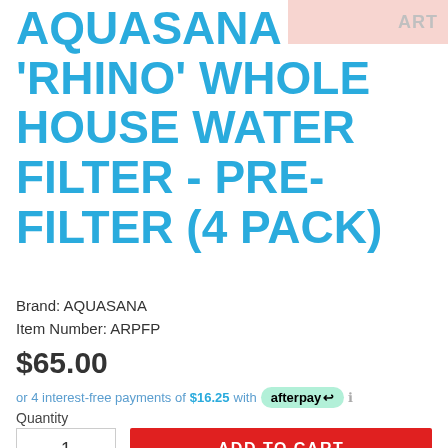ART
AQUASANA 'RHINO' WHOLE HOUSE WATER FILTER - PRE-FILTER (4 PACK)
Brand: AQUASANA
Item Number: ARPFP
$65.00
or 4 interest-free payments of $16.25 with afterpay ℹ
Quantity
1
ADD TO CART